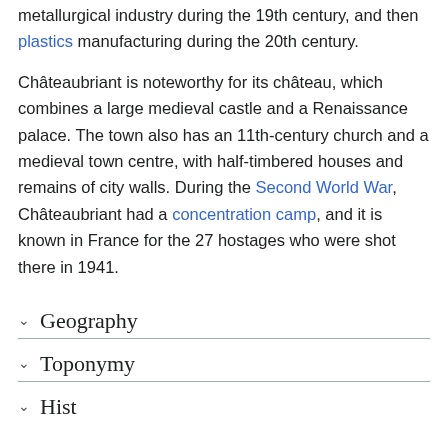metallurgical industry during the 19th century, and then plastics manufacturing during the 20th century.
Châteaubriant is noteworthy for its château, which combines a large medieval castle and a Renaissance palace. The town also has an 11th-century church and a medieval town centre, with half-timbered houses and remains of city walls. During the Second World War, Châteaubriant had a concentration camp, and it is known in France for the 27 hostages who were shot there in 1941.
Geography
Toponymy
History